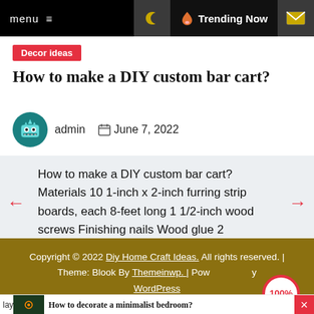menu  ☰   🌙   🔥 Trending Now   ✉
Decor ideas
How to make a DIY custom bar cart?
admin   June 7, 2022
How to make a DIY custom bar cart? Materials 10 1-inch x 2-inch furring strip boards, each 8-feet long 1 1/2-inch wood screws Finishing nails Wood glue 2
Copyright © 2022 Diy Home Craft Ideas. All rights reserved. | Theme: Blook By Themeinwp. | Powered by WordPress
How to decorate a minimalist bedroom?